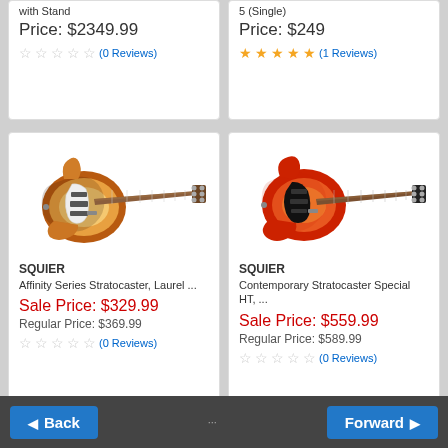with Stand
Price: $2349.99
(0 Reviews)
5 (Single)
Price: $249
(1 Reviews)
[Figure (photo): Squier Affinity Series Stratocaster electric guitar in sunburst finish with white pickguard and brown neck]
SQUIER
Affinity Series Stratocaster, Laurel ...
Sale Price: $329.99
Regular Price: $369.99
(0 Reviews)
[Figure (photo): Squier Contemporary Stratocaster Special HT electric guitar in red/orange sunburst finish with black pickguard]
SQUIER
Contemporary Stratocaster Special HT, ...
Sale Price: $559.99
Regular Price: $589.99
(0 Reviews)
Back   Forward